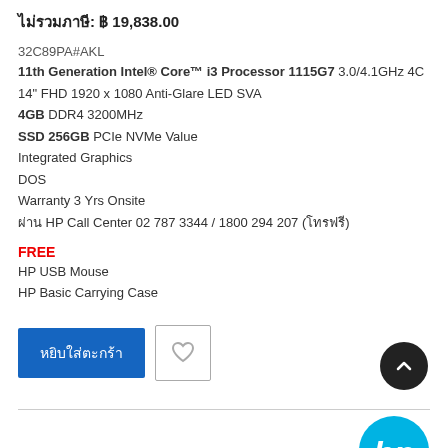ไม่รวมภาษี: ฿ 19,838.00
32C89PA#AKL
11th Generation Intel® Core™ i3 Processor 1115G7 3.0/4.1GHz 4C
14" FHD 1920 x 1080 Anti-Glare LED SVA
4GB DDR4 3200MHz
SSD 256GB PCIe NVMe Value
Integrated Graphics
DOS
Warranty 3 Yrs Onsite
ผ่าน HP Call Center 02 787 3344 / 1800 294 207 (โทรฟรี)
FREE
HP USB Mouse
HP Basic Carrying Case
หยิบใส่ตะกร้า
[Figure (logo): HP logo - cyan colored hp letters in circle]